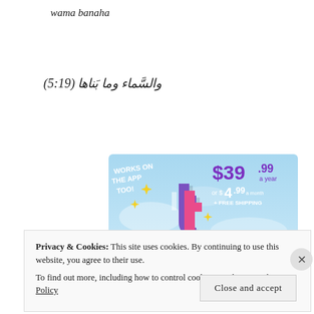wama banaha
والسَّماء وما بَناها (91:5)
[Figure (illustration): Tumblr Ad-Free promotion banner with light blue sky background. Shows Tumblr logo 't' in pink/purple/white, yellow sparkle stars, text 'WORKS ON THE APP TOO!' in white, price '$39.99 a year or $4.99 a month + FREE SHIPPING' in purple/white, and 'TUMBLR AD-FREE' in bold dark text at bottom.]
Privacy & Cookies: This site uses cookies. By continuing to use this website, you agree to their use.
To find out more, including how to control cookies, see here: Cookie Policy
Close and accept